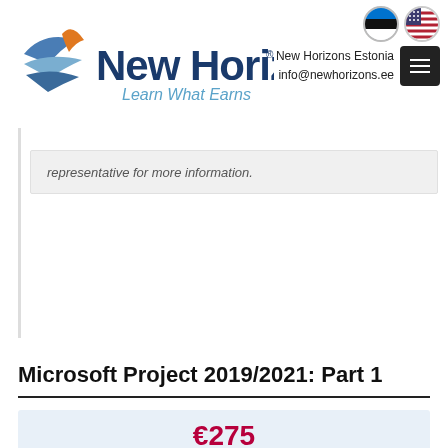[Figure (logo): New Horizons logo with stylized bird/wing icon in blue and orange, text 'New Horizons' in dark navy, tagline 'Learn What Earns' in light blue italic]
New Horizons Estonia
info@newhorizons.ee
representative for more information.
Microsoft Project 2019/2021: Part 1
€275
Course Length : 1 Day